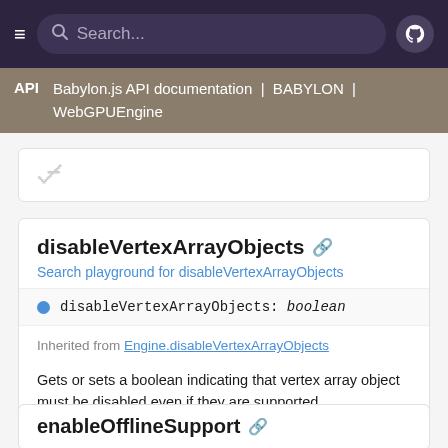Search... [navigation bar with hamburger menu and GitHub icon]
API | Babylon.js API documentation | BABYLON | WebGPUEngine
disableVertexArrayObjects
Search playground for disableVertexArrayObjects
disableVertexArrayObjects: boolean
Inherited from Engine.disableVertexArrayObjects
Gets or sets a boolean indicating that vertex array object must be disabled even if they are supported
enableOfflineSupport